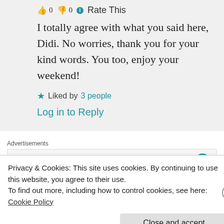👍 0 👎 0 ℹ Rate This
I totally agree with what you said here, Didi. No worries, thank you for your kind words. You too, enjoy your weekend!
★ Liked by 3 people
Log in to Reply
Advertisements
Build a writing habit.
Privacy & Cookies: This site uses cookies. By continuing to use this website, you agree to their use.
To find out more, including how to control cookies, see here: Cookie Policy
Close and accept